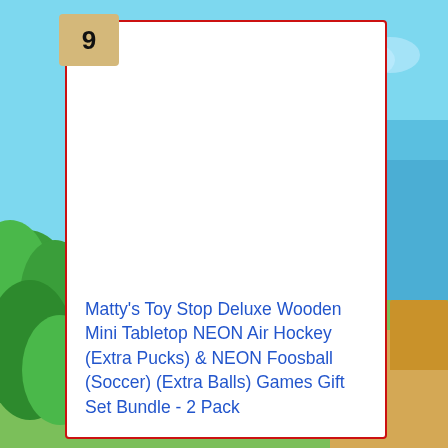[Figure (illustration): Beach scene background with blue sky, water, and green tropical plants on the left and right sides]
9
Matty's Toy Stop Deluxe Wooden Mini Tabletop NEON Air Hockey (Extra Pucks) & NEON Foosball (Soccer) (Extra Balls) Games Gift Set Bundle - 2 Pack